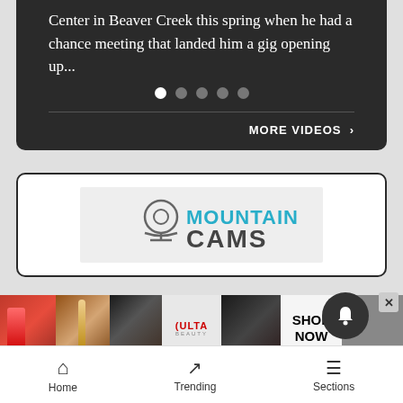Center in Beaver Creek this spring when he had a chance meeting that landed him a gig opening up...
[Figure (screenshot): Carousel pagination dots: one white active dot and four grey inactive dots]
MORE VIDEOS ›
[Figure (logo): Mountain Cams logo: webcam icon above text, MOUNTAIN in teal and CAMS in dark grey]
[Figure (screenshot): ULTA beauty advertisement banner with makeup imagery and SHOP NOW call to action]
Home   Trending   Sections